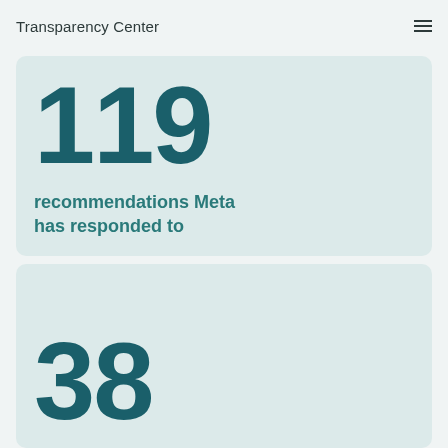Transparency Center
119
recommendations Meta has responded to
38